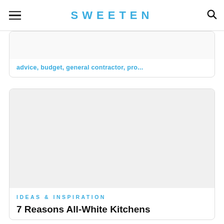SWEETEN
advice, budget, general contractor, pro...
IDEAS & INSPIRATION
7 Reasons All-White Kitchens